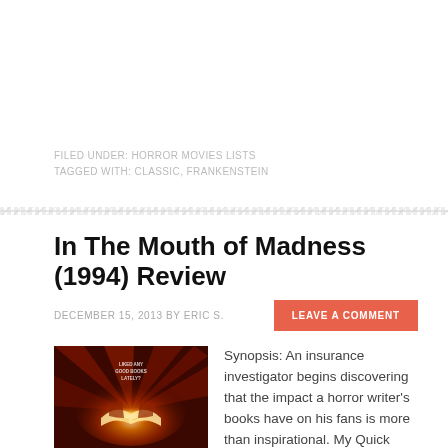FILED UNDER: HORROR MOVIES LISTS
TAGGED WITH: CLASSIC, FRANKENSTEIN
In The Mouth of Madness (1994) Review
DECEMBER 15, 2013 BY ERIC S.
LEAVE A COMMENT
[Figure (photo): Movie poster/cover for In The Mouth of Madness (1994) showing glowing book pages with hands and dramatic red/orange lighting with text 'LIKED ANY GOOD BOOKS LATELY?']
Synopsis: An insurance investigator begins discovering that the impact a horror writer's books have on his fans is more than inspirational. My Quick Review: It feels so good to watch In The Mouth of Mad...